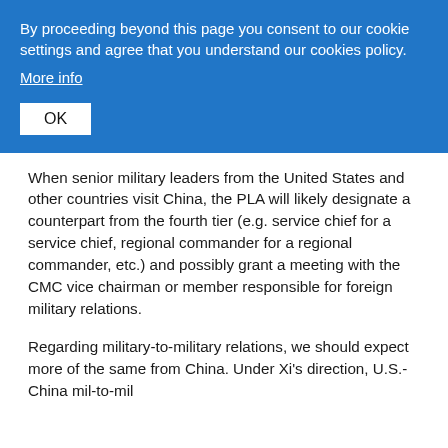By proceeding beyond this page you consent to our cookie settings and agree that you understand our cookies policy.
More info
OK
When senior military leaders from the United States and other countries visit China, the PLA will likely designate a counterpart from the fourth tier (e.g. service chief for a service chief, regional commander for a regional commander, etc.) and possibly grant a meeting with the CMC vice chairman or member responsible for foreign military relations.
Regarding military-to-military relations, we should expect more of the same from China. Under Xi's direction, U.S.-China mil-to-mil